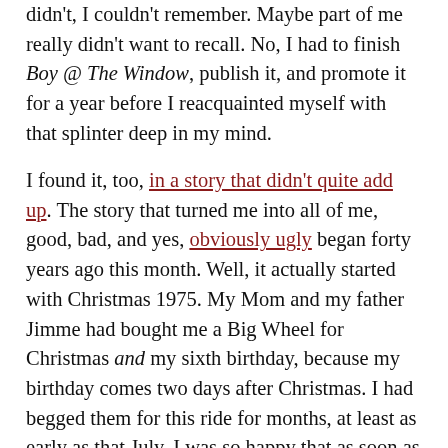didn't, I couldn't remember. Maybe part of me really didn't want to recall. No, I had to finish Boy @ The Window, publish it, and promote it for a year before I reacquainted myself with that splinter deep in my mind.

I found it, too, in a story that didn't quite add up. The story that turned me into all of me, good, bad, and yes, obviously ugly began forty years ago this month. Well, it actually started with Christmas 1975. My Mom and my father Jimme had bought me a Big Wheel for Christmas and my sixth birthday, because my birthday comes two days after Christmas. I had begged them for this ride for months, at least as early as that July. I was so happy that as soon as I could, with my dark blue winter coat and all, I rode up and down South Sixth Avenue's blue-slate sidewalks with it. I thought I was the coolest kid on my